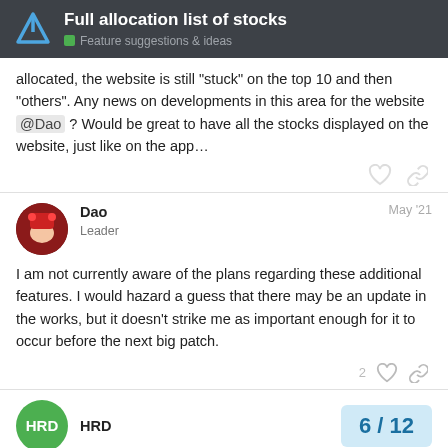Full allocation list of stocks — Feature suggestions & ideas
allocated, the website is still "stuck" on the top 10 and then "others". Any news on developments in this area for the website @Dao ? Would be great to have all the stocks displayed on the website, just like on the app…
Dao — Leader — May '21
I am not currently aware of the plans regarding these additional features. I would hazard a guess that there may be an update in the works, but it doesn't strike me as important enough for it to occur before the next big patch.
HRD
6 / 12